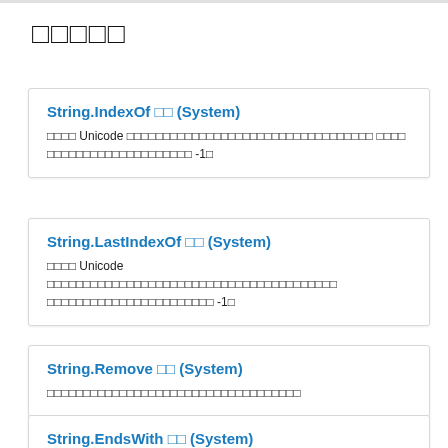□□□□□
String.IndexOf □□ (System)
□□□□ Unicode □□□□□□□□□□□□□□□□□□□□□□□□□□□□□□□□□□ □□□□ □□□□□□□□□□□□□□□□□□□□ -1□
String.LastIndexOf □□ (System)
□□□□ Unicode □□□□□□□□□□□□□□□□□□□□□□□□□□□□□□□□□□□□□□□□ □□□□□□□□□□□□□□□□□□□□□□□ -1□
String.Remove □□ (System)
□□□□□□□□□□□□□□□□□□□□□□□□□□□□□□□□□□□
String.EndsWith □□ (System)